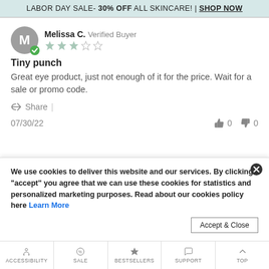LABOR DAY SALE- 30% OFF ALL SKINCARE! | SHOP NOW
Melissa C. Verified Buyer
★★★☆☆ (3 out of 5 stars)
Tiny punch
Great eye product, just not enough of it for the price. Wait for a sale or promo code.
Share
07/30/22  👍 0  👎 0
We use cookies to deliver this website and our services. By clicking "accept" you agree that we can use these cookies for statistics and personalized marketing purposes. Read about our cookies policy here Learn More
ACCESSIBILITY | SALE | BESTSELLERS | SUPPORT | TOP